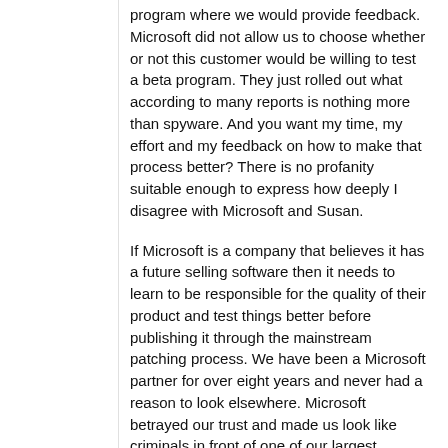program where we would provide feedback. Microsoft did not allow us to choose whether or not this customer would be willing to test a beta program. They just rolled out what according to many reports is nothing more than spyware. And you want my time, my effort and my feedback on how to make that process better? There is no profanity suitable enough to express how deeply I disagree with Microsoft and Susan.
If Microsoft is a company that believes it has a future selling software then it needs to learn to be responsible for the quality of their product and test things better before publishing it through the mainstream patching process. We have been a Microsoft partner for over eight years and never had a reason to look elsewhere. Microsoft betrayed our trust and made us look like criminals in front of one of our largest clients. They will not earn that trust back and we will actively seek and promote alternative solutions.
Thank you.